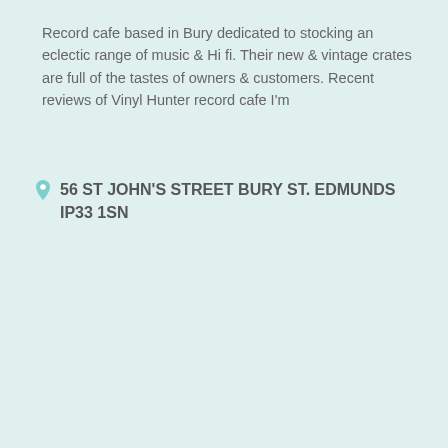Record cafe based in Bury dedicated to stocking an eclectic range of music & Hi fi. Their new & vintage crates are full of the tastes of owners & customers. Recent reviews of Vinyl Hunter record cafe I'm
56 ST JOHN'S STREET BURY ST. EDMUNDS IP33 1SN